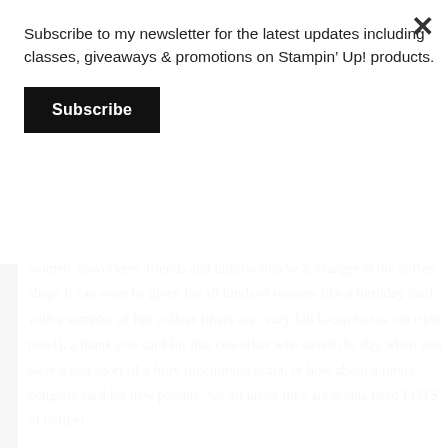Subscribe to my newsletter for the latest updates including classes, giveaways & promotions on Stampin' Up! products.
Subscribe
women, coworkers, friends and family- maybe a stranger at the coffee shop! It can even be given for all kinds of reasons like a birthday card with a sampler of fun coffees (there are crazy fall k-cup boxes out right now!), a thank you card for that coworker who saved the day when you were a cup short of a fully functioning brain, or how about a funny congrats card for new parents- we all know they are gonna need LOTS of coffee!
This card is a snap to make and brings some serious sunshine to any day, check out the steps below.
1. Make a 4 1/4x5 1/2 inch card base with